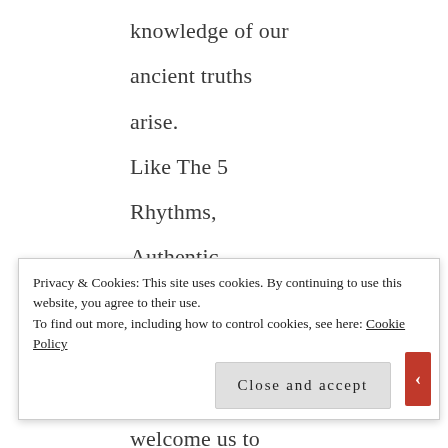knowledge of our ancient truths arise. Like The 5 Rhythms, Authentic Relating Games are filled with offerings that welcome us to explore our ancient and
Privacy & Cookies: This site uses cookies. By continuing to use this website, you agree to their use. To find out more, including how to control cookies, see here: Cookie Policy
Close and accept